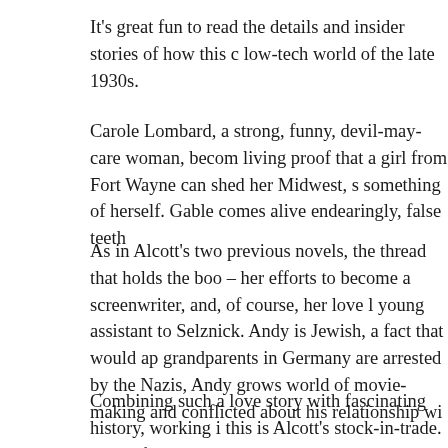It's great fun to read the details and insider stories of how this c low-tech world of the late 1930s.
Carole Lombard, a strong, funny, devil-may-care woman, becom living proof that a girl from Fort Wayne can shed her Midwest, s something of herself. Gable comes alive endearingly, false teeth
As in Alcott's two previous novels, the thread that holds the boo – her efforts to become a screenwriter, and, of course, her love l young assistant to Selznick. Andy is Jewish, a fact that would ap grandparents in Germany are arrested by the Nazis, Andy grows world of movie-making and conflicted about his relationship wi
Combining such a love story with fascinating history, working i this is Alcott's stock-in-trade. Each of her novels draws some cr trying to tell too many stories, that the historical novel might be in.